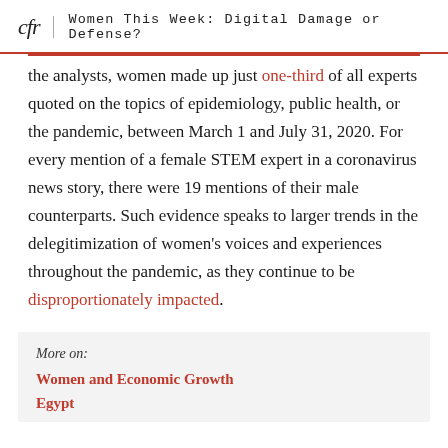cfr | Women This Week: Digital Damage or Defense?
the analysts, women made up just one-third of all experts quoted on the topics of epidemiology, public health, or the pandemic, between March 1 and July 31, 2020. For every mention of a female STEM expert in a coronavirus news story, there were 19 mentions of their male counterparts. Such evidence speaks to larger trends in the delegitimization of women's voices and experiences throughout the pandemic, as they continue to be disproportionately impacted.
More on:
Women and Economic Growth
Egypt